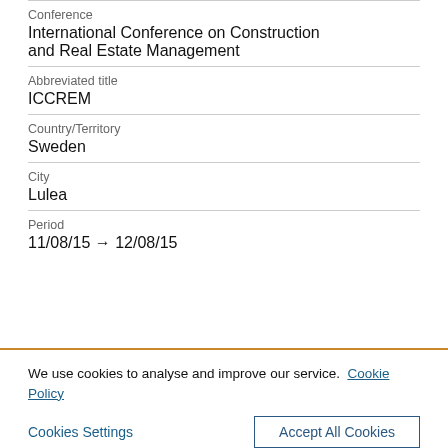Conference
International Conference on Construction and Real Estate Management
Abbreviated title
ICCREM
Country/Territory
Sweden
City
Lulea
Period
11/08/15 → 12/08/15
We use cookies to analyse and improve our service. Cookie Policy
Cookies Settings
Accept All Cookies